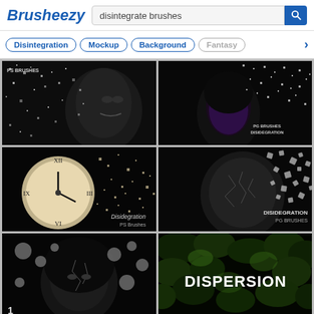Brusheezy — disintegrate brushes search page
disintegrate brushes
Disintegration
Mockup
Background
Fantasy
[Figure (photo): Dark portrait of a face disintegrating into particles, labeled 'PS BRUSHES' top left]
[Figure (photo): Purple-tinted portrait of a woman disintegrating into particles, labeled 'PG BRUSHES DISIDEGRATION' bottom right]
[Figure (photo): Clock face disintegrating into particles on black background, labeled 'Disidegration PS Brushes' bottom right]
[Figure (photo): Face with cracked skin disintegrating into square pieces on black background, labeled 'DISIDEGRATION PG BRUSHES' bottom right]
[Figure (photo): Dark portrait of a woman with cracked face and disintegrating elements, numbered 1 bottom left]
[Figure (photo): Green foliage background with white text reading DISPERSION]